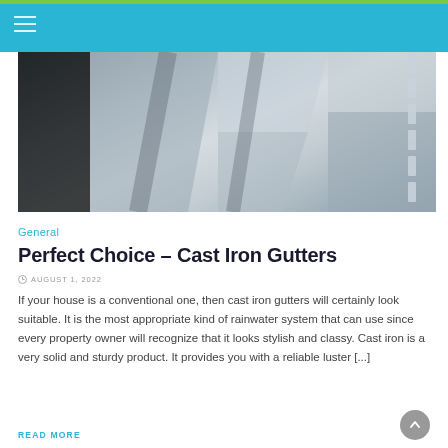[Figure (photo): Photo of a white garage door with panels, showing shadows cast across the panels. Dark siding visible on the right edge.]
General
Perfect Choice – Cast Iron Gutters
AUGUST 1, 2022
If your house is a conventional one, then cast iron gutters will certainly look suitable. It is the most appropriate kind of rainwater system that can use since every property owner will recognize that it looks stylish and classy. Cast iron is a very solid and sturdy product. It provides you with a reliable luster [...]
READ MORE